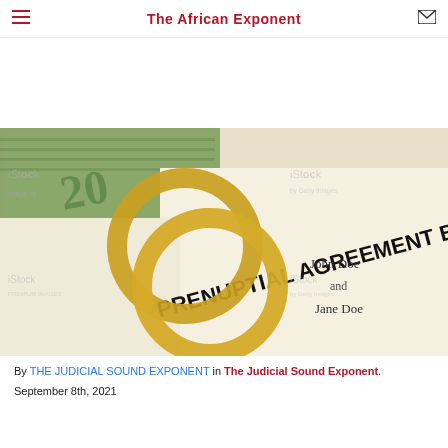The African Exponent
[Figure (photo): Prenuptial agreement document with two gold wedding rings placed on top, with a stack of US dollar bills visible behind the rings. The document reads 'PRENUPTIAL AGREEMENT BET...' with 'John Doe and Jane Doe' visible on the right side. iStock watermark visible. Photo credit: Getty Images.]
By THE JUDICIAL SOUND EXPONENT in The Judicial Sound Exponent.
September 8th, 2021